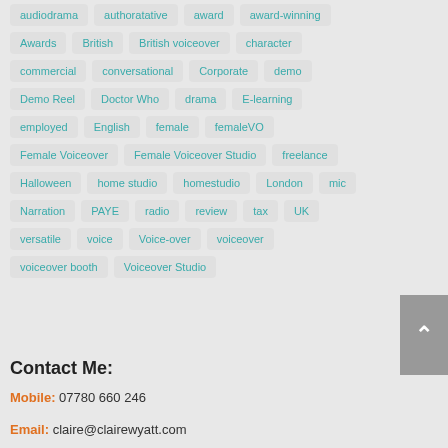audiodrama, authoratative, award, award-winning, Awards, British, British voiceover, character, commercial, conversational, Corporate, demo, Demo Reel, Doctor Who, drama, E-learning, employed, English, female, femaleVO, Female Voiceover, Female Voiceover Studio, freelance, Halloween, home studio, homestudio, London, mic, Narration, PAYE, radio, review, tax, UK, versatile, voice, Voice-over, voiceover, voiceover booth, Voiceover Studio
Contact Me:
Mobile: 07780 660 246
Email: claire@clairewyatt.com